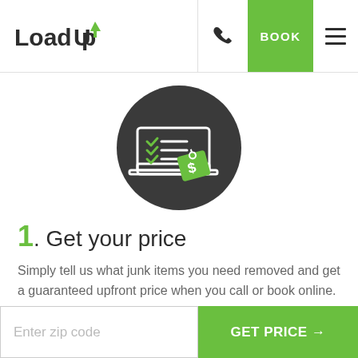LoadUp | BOOK
[Figure (illustration): Dark circular icon with a laptop showing a checklist with green checkmarks and a green price tag with a dollar sign]
1. Get your price
Simply tell us what junk items you need removed and get a guaranteed upfront price when you call or book online.